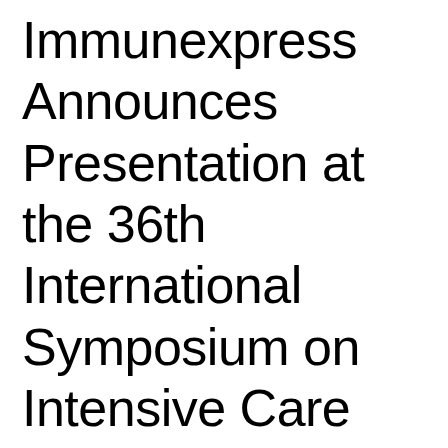Immunexpress Announces Presentation at the 36th International Symposium on Intensive Care and Emergency Medicine on the